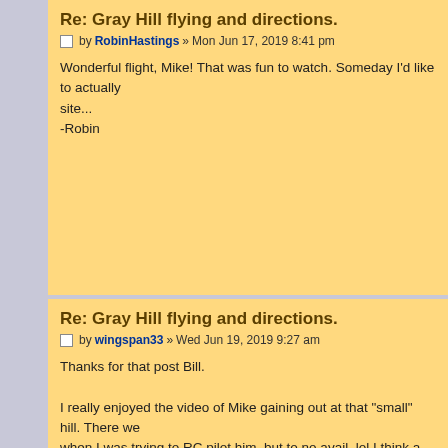Re: Gray Hill flying and directions.
by RobinHastings » Mon Jun 17, 2019 8:41 pm
Wonderful flight, Mike! That was fun to watch. Someday I'd like to actually site...
-Robin
Re: Gray Hill flying and directions.
by wingspan33 » Wed Jun 19, 2019 9:27 am
Thanks for that post Bill.

I really enjoyed the video of Mike gaining out at that "small" hill. There we when I was trying to RC pilot him, but to no avail. lol I think a higher perfo glider might have gotten even higher, but who knows. It also reminds me got to edit and put some of my recent flights up on YouTube. It's always f watch someone flying.